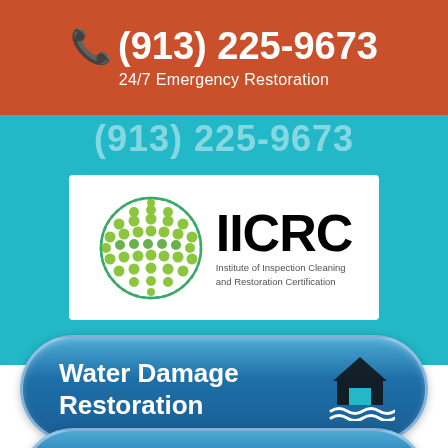(913) 225-9673
24/7 Emergency Restoration
(913) 225-9673
[Figure (logo): IICRC logo: globe icon with green dots on white background, beside bold black text 'IICRC' and smaller text 'Institute of Inspection Cleaning and Restoration Certification']
Water Damage Restoration
[Figure (infographic): Partially visible blue rounded button at bottom of page]